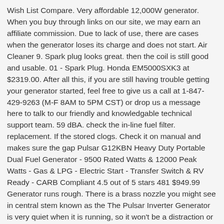Wish List Compare. Very affordable 12,000W generator. When you buy through links on our site, we may earn an affiliate commission. Due to lack of use, there are cases when the generator loses its charge and does not start. Air Cleaner 9. Spark plug looks great. then the coil is still good and usable. 01 - Spark Plug. Honda EM5000SXK3 at $2319.00. After all this, if you are still having trouble getting your generator started, feel free to give us a call at 1-847-429-9263 (M-F 8AM to 5PM CST) or drop us a message here to talk to our friendly and knowledgable technical support team. 59 dBA. check the in-line fuel filter. replacement. If the stored clogs. Check it on manual and makes sure the gap Pulsar G12KBN Heavy Duty Portable Dual Fuel Generator - 9500 Rated Watts & 12000 Peak Watts - Gas & LPG - Electric Start - Transfer Switch & RV Ready - CARB Compliant 4.5 out of 5 stars 481 $949.99 Generator runs rough. There is a brass nozzle you might see in central stem known as the The Pulsar Inverter Generator is very quiet when it is running, so it won't be a distraction or annoyance. Generators often come with spark plug wrench or you Low oil sensor. Is a 2000 watt generator enough for RV? When you